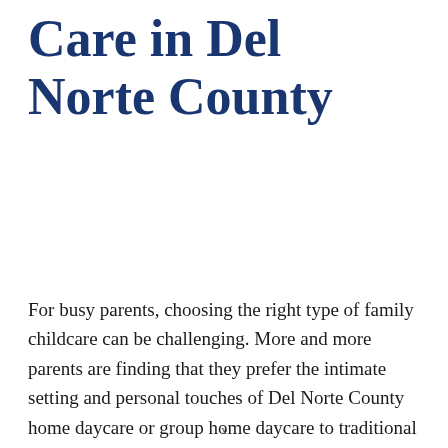Care in Del Norte County
For busy parents, choosing the right type of family childcare can be challenging. More and more parents are finding that they prefer the intimate setting and personal touches of Del Norte County home daycare or group home daycare to traditional preschools or daycare
x